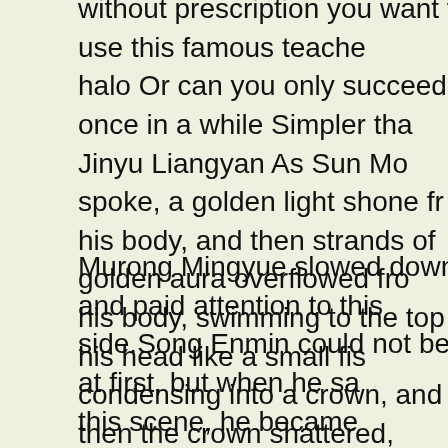without prescription you want to use this famous teacher halo Or can you only succeed once in a while Simpler than Jinyu Liangyan As Sun Mo spoke, a golden light shone from his body, and then strands of golden aura overflowed from his body, swimming to the top of his head like a small fish, condensing into a crown, and then the crown shattered, golden spots fell on the ground, forming A dazzling and mysterious golden halo.
Murong Mingyue slowed down and paid attention to this side.Song Enmin could not bear it at first, but when he saw this scene, he became determined You do not even have courage to throw a chicken leg, so why bother Does it matter if you work hard and eat Xian Yuwei asked dumbly and seeing Song Enmin magnum male enhancement pills review is unfazed expression, she quickly apologized I was wrong, the teacher will rite aid ed meds magnum male enhancement pills review not let me eat it, so I will not ea